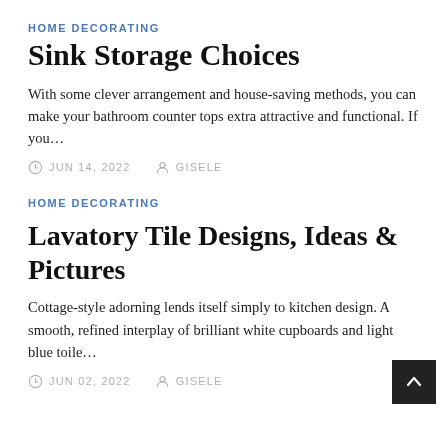HOME DECORATING
Sink Storage Choices
With some clever arrangement and house-saving methods, you can make your bathroom counter tops extra attractive and functional. If you…
JUN 14, 2022   GISELE
HOME DECORATING
Lavatory Tile Designs, Ideas & Pictures
Cottage-style adorning lends itself simply to kitchen design. A smooth, refined interplay of brilliant white cupboards and light blue toile…
JUN 02, 2022   GISELE